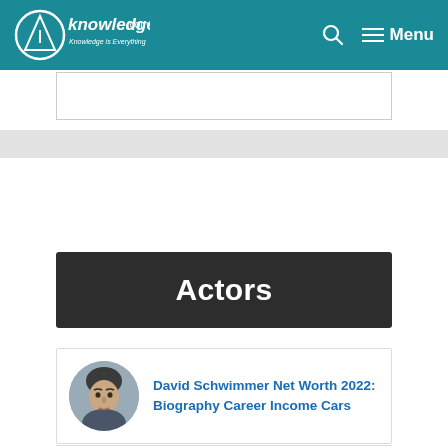AKnowledge.com — Knowledge is Everything | Search | Menu
Actors
David Schwimmer Net Worth 2022: Biography Career Income Cars